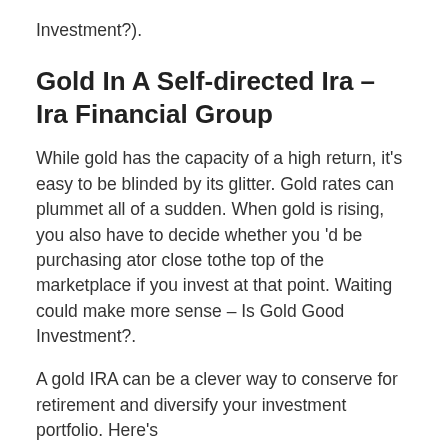Investment?).
Gold In A Self-directed Ira – Ira Financial Group
While gold has the capacity of a high return, it's easy to be blinded by its glitter. Gold rates can plummet all of a sudden. When gold is rising, you also have to decide whether you 'd be purchasing ator close tothe top of the marketplace if you invest at that point. Waiting could make more sense – Is Gold Good Investment?.
A gold IRA can be a clever way to conserve for retirement and diversify your investment portfolio. Here's